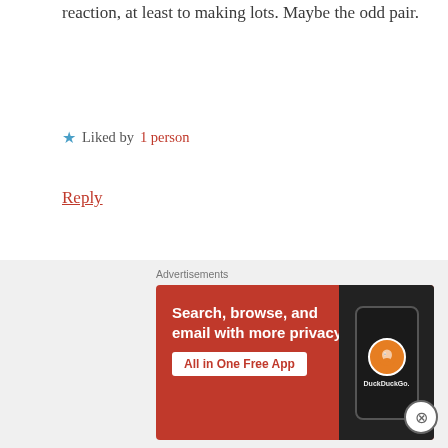reaction, at least to making lots. Maybe the odd pair.
★ Liked by 1 person
Reply
Leave a Reply
Your email address will not be published. Required fields are marked *
[Figure (other): DuckDuckGo advertisement banner: orange background with text 'Search, browse, and email with more privacy. All in One Free App' and a phone showing the DuckDuckGo logo]